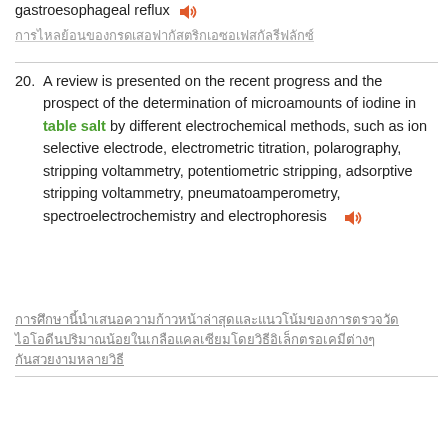gastroesophageal reflux 🔊
[Thai text - transliteration of gastroesophageal reflux]
20. A review is presented on the recent progress and the prospect of the determination of microamounts of iodine in table salt by different electrochemical methods, such as ion selective electrode, electrometric titration, polarography, stripping voltammetry, potentiometric stripping, adsorptive stripping voltammetry, pneumatoamperometry, spectroelectrochemistry and electrophoresis 🔊
[Thai translation of item 20]